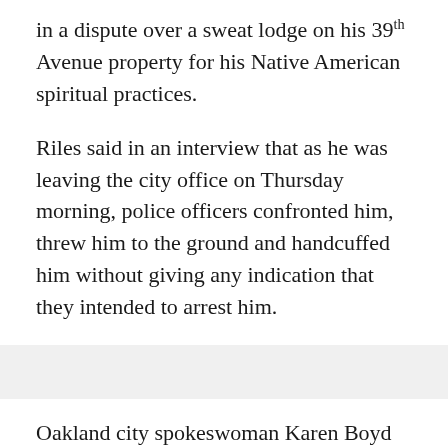in a dispute over a sweat lodge on his 39th Avenue property for his Native American spiritual practices.
Riles said in an interview that as he was leaving the city office on Thursday morning, police officers confronted him, threw him to the ground and handcuffed him without giving any indication that they intended to arrest him.
Oakland city spokeswoman Karen Boyd wrote in an email Monday that the 73-year-old Riles "was detained following a 911 call regarding a city employee who reported a hostile man had chased a city inspector into the restricted staff-only area."